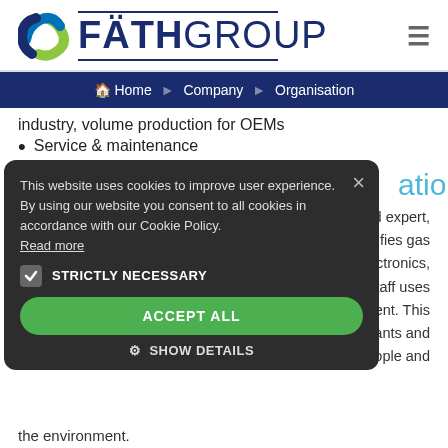[Figure (logo): Fäth Group logo with circular icon and company name in dark blue]
Home › Company › Organisation
industry, volume production for OEMs
Service & maintenance
ation
thorised expert, nt qualifies gas oelectronics, . Our staff uses quipment. This g of plants and of people and the environment.
This website uses cookies to improve user experience. By using our website you consent to all cookies in accordance with our Cookie Policy. Read more
STRICTLY NECESSARY
ACCEPT ALL
SHOW DETAILS